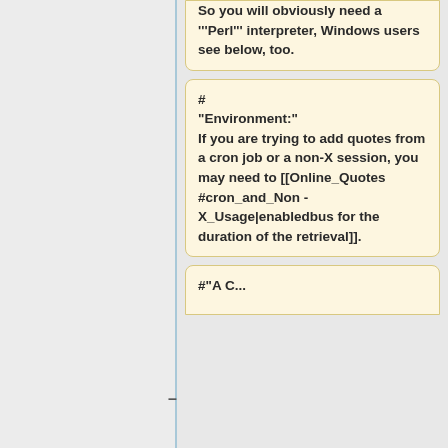So you will obviously need a '''Perl''' interpreter, Windows users see below, too.
# "Environment:" If you are trying to add quotes from a cron job or a non-X session, you may need to [[Online_Quotes #cron_and_Non - X_Usage|enabledbus for the duration of the retrieval]].